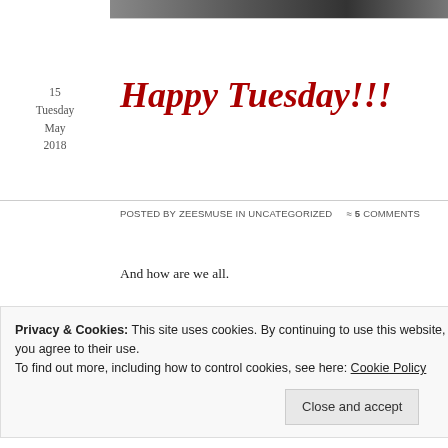[Figure (photo): Partial image strip at top of page]
15
Tuesday
May
2018
Happy Tuesday!!!
Posted by zeesmuse in Uncategorized ≈ 5 Comments
And how are we all.
We are now at 3 days and counting down and 9 days of NO CLOTHES SHOPPING.
Really, this is a necessary. It is my goal to NOT BUY
Privacy & Cookies: This site uses cookies. By continuing to use this website, you agree to their use.
To find out more, including how to control cookies, see here: Cookie Policy
Close and accept